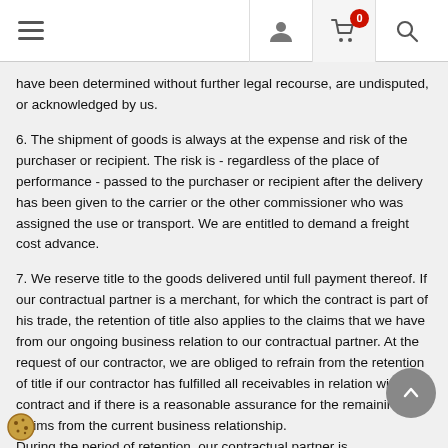Navigation header with hamburger menu, user icon, cart (0), and search icon
have been determined without further legal recourse, are undisputed, or acknowledged by us.
6. The shipment of goods is always at the expense and risk of the purchaser or recipient. The risk is - regardless of the place of performance - passed to the purchaser or recipient after the delivery has been given to the carrier or the other commissioner who was assigned the use or transport. We are entitled to demand a freight cost advance.
7. We reserve title to the goods delivered until full payment thereof. If our contractual partner is a merchant, for which the contract is part of his trade, the retention of title also applies to the claims that we have from our ongoing business relation to our contractual partner. At the request of our contractor, we are obliged to refrain from the retention of title if our contractor has fulfilled all receivables in relation with the contract and if there is a reasonable assurance for the remaining claims from the current business relationship. During the period of retention, our contractual partner is